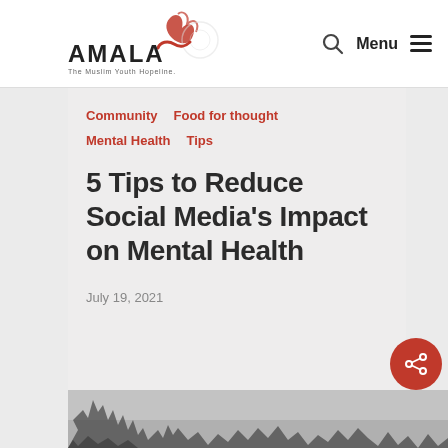[Figure (logo): AMALA - The Muslim Youth Hopeline logo with flame/swirl graphic]
Menu
Community   Food for thought   Mental Health   Tips
5 Tips to Reduce Social Media's Impact on Mental Health
July 19, 2021
[Figure (photo): Black and white photo of bare tree branches against a light sky, partially visible at bottom of page]